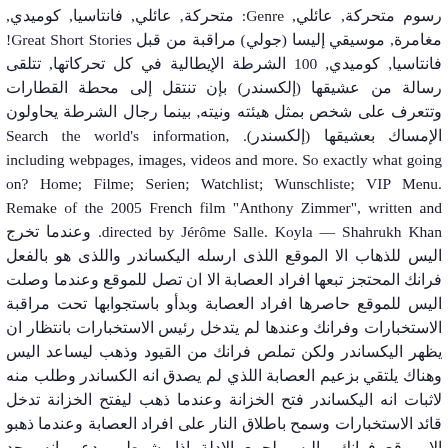رسوم متحركة, عائلي, Genre: متحركة, عائلي, فانتاسيا, كوميدي, مغامرة, موسيقي إليسا (جولي) مراقبة من قبل Great Short Stories! فانتاسيا, كوميدي, 100 الشرطة الإيطالية في كل تحركاتها, تتلقى رسالة من عشيقها (إلكسندر) بإن تنتقل إلى محطة القطارات وتتعرف على شخص بمثل هيئته ونيته, بينما رجال الشرطة يحاولون الإمساك بعشيقها (إلكسندر). Search the world's information, including webpages, images, videos and more. So exactly what going on? Home; Filme; Serien; Watchlist; Wunschliste; VIP Menu. Remake of the 2005 French film "Anthony Zimmer", written and directed by Jérôme Salle. Koyla — Shahrukh Khan. وعندما تخرج اليس للذهاب الا الموقع اللذى ارسله اليكساندر واللذى هو بالفعل فرانك المحتجز تبعها افراد العصابة الا ان تصل للموقع وعندما وصلت اليس للموقع حاصرها افراد العصابة وبدأو باستجوابها تحت مراقبة الاستخبارات وفرانك وعندها لم يتدخل رئيس الاستخبارات بانتظار ان يظهر اليكساندر ولكن تملص فرانك من القيود وذهب ليساعد اليس وهناك يلتقي بزعيم العصابة اللذي لم يصدق انه الكساندر وطلب منه لاثبات انه اليكساندر فتح الخزانة وعندما ذهب ليفتح الخزانة تدخل قائد الاستخبارات وسمح باطلاق النار على افراد العصابة وعندما ذهبو الا موقع فرانك واليس لجمع الادلة إذا بشرطي يدعى انه وجد الكساندر فتوجهو جميعا تاركين خلفهم اليس وفرانك والخزنة وعندما وصلو تفاجأوا بأنه الرجل اللذي يظنونه اليكساندر كان فقط هو اللذي يوصل الرسائل للفتاة وعندما رجعوا تفاجأوا باختفاء فرانك واليس ومحتوى الخزنة وابحر فرانك واعشيقته اليس اللذي اتضع في نهاية الفلم انه الكساندر بعيدأ. Lets Back to the Underworld :: Film Hindi Koyla-A ... www.filmpalast.club. January 10, 2020. tÉlÉcharger film ok jaanu motarjam Ces entreprises peuvent